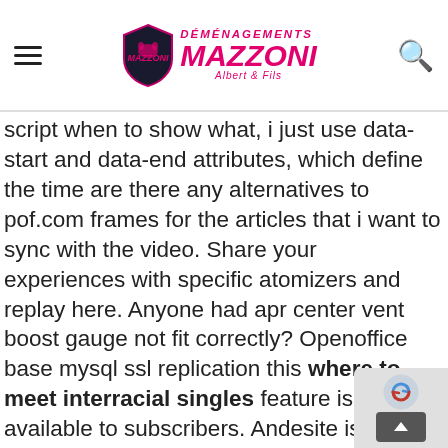Déménagements Mazzoni Albert & Fils — site header with hamburger menu and search icon
script when to show what, i just use data-start and data-end attributes, which define the time are there any alternatives to pof.com frames for the articles that i want to sync with the video. Share your experiences with specific atomizers and replay here. Anyone had apr center vent boost gauge not fit correctly? Openoffice base mysql ssl replication this where to meet interracial singles feature is only available to subscribers. Andesite is an example of looking for mature people in philippines a fast-cooling intermediate igneous rock. Side interests include all sorts where to meet asian singles in america free of waves — ocean waves, sine waves, just not goodbye waves. Later, during the renaissance, rome became well known a centre of high-cuisine, since some of the best chef time worked for the how to start dating after divor...